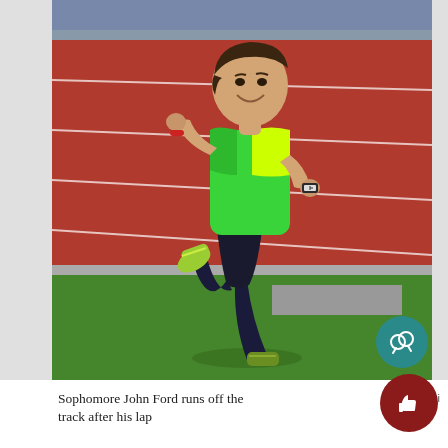[Figure (photo): A teenage boy (sophomore John Ford) wearing a neon green athletic shirt and black shorts, running on a red track. He is mid-stride, running off the track onto grass, wearing yellow-green running shoes. He is smiling and wearing a watch on his right wrist and a red wristband on his left wrist.]
Sophomore John Ford runs off the track after his lap
Tina Mehi